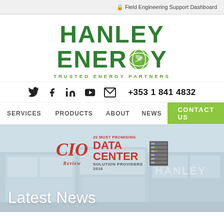Field Engineering Support Dashboard
[Figure (logo): Hanley Energy logo with green text and leaf icon. Tagline: TRUSTED ENERGY PARTNERS]
🐦  f  in  YouTube  ✉  +353 1 841 4832
SERVICES   PRODUCTS   ABOUT   NEWS   CONTACT US
[Figure (screenshot): Hero image of a modern building exterior with CIO Review 20 Most Promising Data Center Solution Providers 2016 badge overlaid. Text 'HANLEY' visible in background.]
Latest News